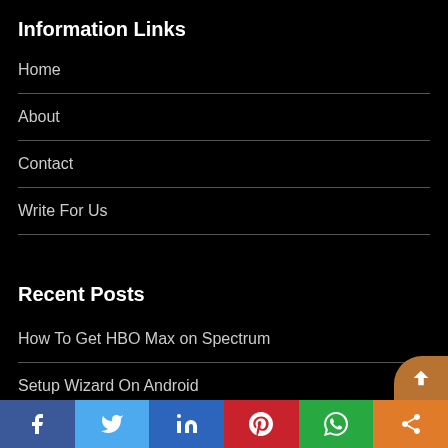Information Links
Home
About
Contact
Write For Us
Recent Posts
How To Get HBO Max on Spectrum
Setup Wizard On Android